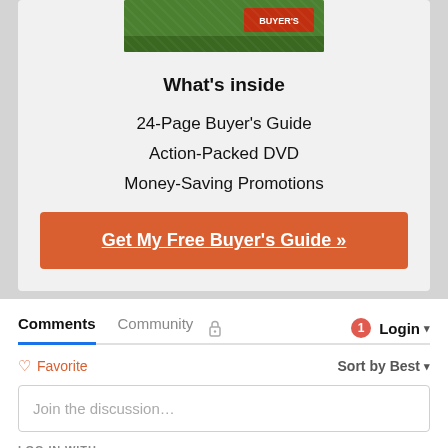[Figure (photo): Partial product image showing a green lawn or outdoor scene]
What's inside
24-Page Buyer's Guide
Action-Packed DVD
Money-Saving Promotions
Get My Free Buyer's Guide »
Comments   Community   🔒   1   Login
♡ Favorite   Sort by Best ▾
Join the discussion…
LOG IN WITH